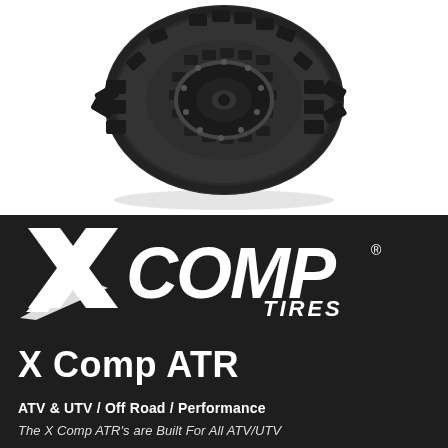[Figure (photo): Close-up photo of an X Comp ATR off-road tire with aggressive tread pattern and beadlock-style rim, shown on a white background with a subtle shadow.]
[Figure (logo): X COMP TIRES logo in white on dark background. Large italic X on the left with swoosh, followed by bold text COMP and smaller text TIRES with registered trademark symbol.]
X Comp ATR
ATV & UTV / Off Road / Performance
The X Comp ATR's are Built For All ATV/UTV